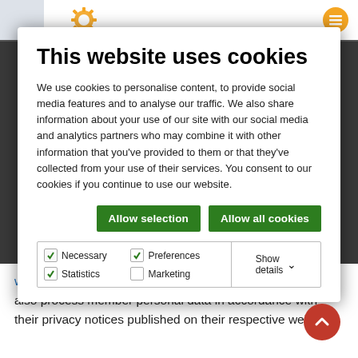[Figure (screenshot): Rotary website top navigation bar with gear logo icon]
This website uses cookies
We use cookies to personalise content, to provide social media features and to analyse our traffic. We also share information about your use of our site with our social media and analytics partners who may combine it with other information that you've provided to them or that they've collected from your use of their services. You consent to our cookies if you continue to use our website.
Allow selection   Allow all cookies
|  |  |
| --- | --- |
| Necessary  Preferences  Statistics  Marketing | Show details |
www.rotarygbi.org) and RI (website: www.rota… may also process member personal data in accordance with their privacy notices published on their respective websites.